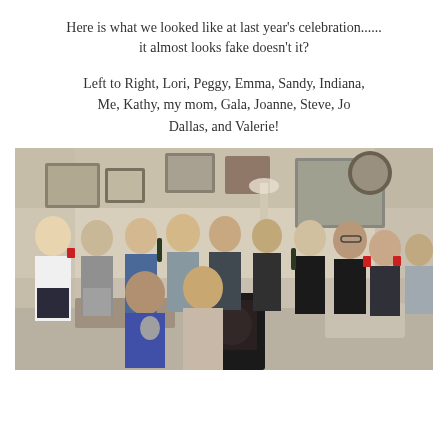Here is what we looked like at last year's celebration...... it almost looks fake doesn't it?
Left to Right, Lori, Peggy, Emma, Sandy, Indiana, Me, Kathy, my mom, Gala, Joanne, Steve, Jo Dallas, and Valerie!
[Figure (photo): Group photo of approximately 13 people (mostly women, one man) celebrating in what appears to be a furniture/antique store. People are smiling, holding bottles and red cups. The store has various artwork, lamps, and furniture visible in the background.]